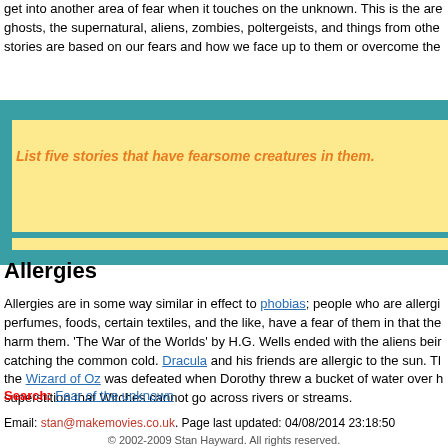get into another area of fear when it touches on the unknown. This is the area of ghosts, the supernatural, aliens, zombies, poltergeists, and things from other... stories are based on our fears and how we face up to them or overcome the...
List five stories that have fearsome creatures in them.
Allergies
Allergies are in some way similar in effect to phobias; people who are allergic to perfumes, foods, certain textiles, and the like, have a fear of them in that they harm them. 'The War of the Worlds' by H.G. Wells ended with the aliens being catching the common cold. Dracula and his friends are allergic to the sun. The Wizard of Oz was defeated when Dorothy threw a bucket of water over h... superstition that Witches cannot go across rivers or streams.
Search: Fear of the unknown
Email: stan@makemovies.co.uk. Page last updated: 04/08/2014 23:18:50
© 2002-2009 Stan Hayward. All rights reserved.